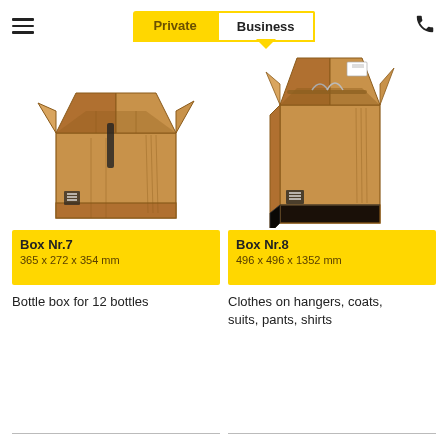Private | Business
[Figure (photo): Open cardboard moving box (Box Nr.7) for bottles, small size]
[Figure (photo): Tall wardrobe cardboard moving box (Box Nr.8) for clothes on hangers, open top]
Box Nr.7
365 x 272 x 354 mm
Box Nr.8
496 x 496 x 1352 mm
Bottle box for 12 bottles
Clothes on hangers, coats, suits, pants, shirts